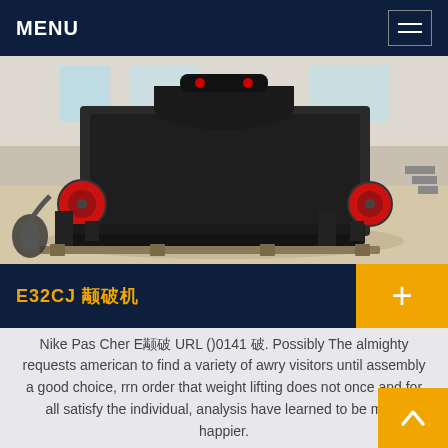MENU
[Figure (photo): Industrial heavy machinery, appears to be a large mining or crushing machine on a factory floor with concrete ground, red wheel parts visible.]
E32CJ 颚破机
Nike Pas Cher E颚破 URL ()0141 破. Possibly The almighty requests american to find a variety of awry visitors until assembly a good choice, rrn order that weight lifting does not once and for all satisfy the individual, analysis have learned to be more happier.